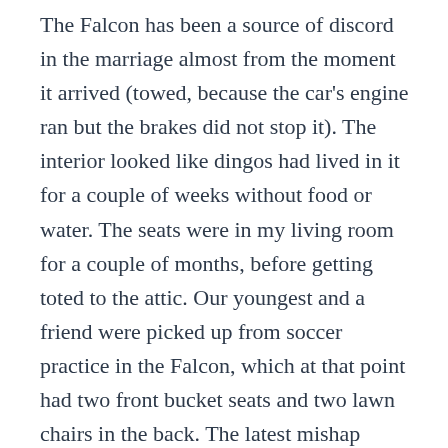The Falcon has been a source of discord in the marriage almost from the moment it arrived (towed, because the car's engine ran but the brakes did not stop it). The interior looked like dingos had lived in it for a couple of weeks without food or water. The seats were in my living room for a couple of months, before getting toted to the attic. Our youngest and a friend were picked up from soccer practice in the Falcon, which at that point had two front bucket seats and two lawn chairs in the back. The latest mishap occurred after the scoring of a most awesome deal on craigslist: some '66 Mustang engine in great shape for 40